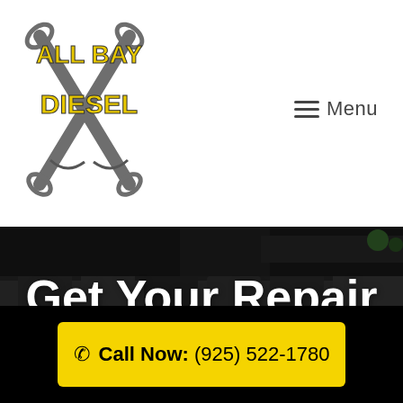[Figure (logo): All Bay Diesel logo with crossed wrenches, yellow and black text on white background]
≡ Menu
[Figure (photo): Dark overlay photo of diesel engine components/cylinder head with bolts and mechanical parts]
Get Your Repair Estimate
Need a fast & accurate estimate? Get in touch with All
☎ Call Now: (925) 522-1780